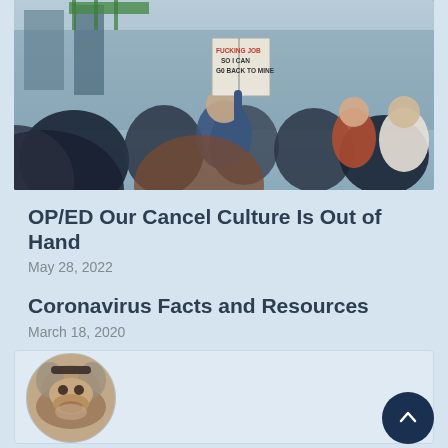[Figure (photo): Protest crowd scene with a person holding a sign reading 'FUCKING JOB SO I CAN GO BACK TO MINE']
OP/ED Our Cancel Culture Is Out of Hand
May 28, 2022
Coronavirus Facts and Resources
March 18, 2020
[Figure (photo): Circular photo of a bulldog with a dark background card]